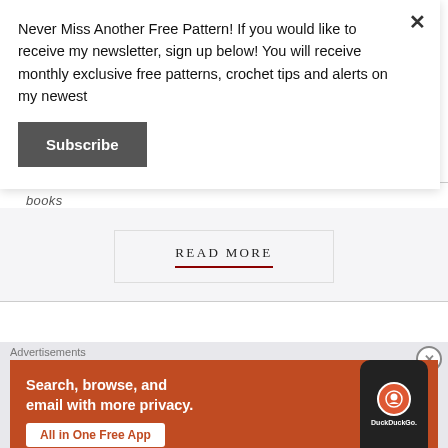Never Miss Another Free Pattern! If you would like to receive my newsletter, sign up below! You will receive monthly exclusive free patterns, crochet tips and alerts on my newest
[Figure (other): Dark gray Subscribe button]
books
[Figure (other): READ MORE button with dark red underline]
Advertisements
[Figure (other): DuckDuckGo advertisement banner: Search, browse, and email with more privacy. All in One Free App. Shows a phone with DuckDuckGo logo.]